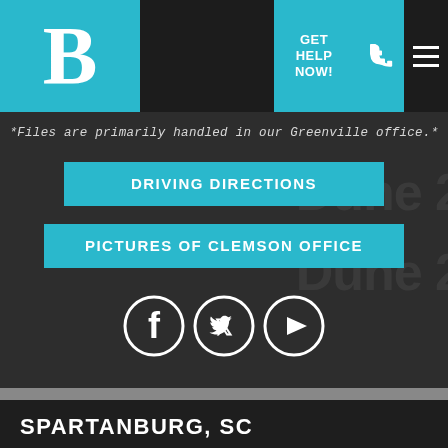[Figure (logo): Law firm logo with white letter B on teal background]
GET HELP NOW!
*Files are primarily handled in our Greenville office.*
DRIVING DIRECTIONS
PICTURES OF CLEMSON OFFICE
[Figure (illustration): Facebook, Twitter, and YouTube social media icons in white circles on dark background]
SPARTANBURG, SC
[Figure (map): Satellite/aerial map view of Spartanburg SC showing The Shealy Law Firm location and The Children's Museum of the Upstate nearby]